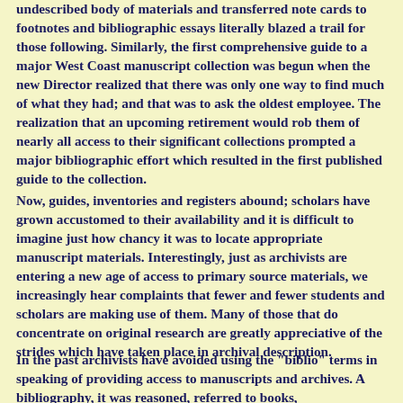undescribed body of materials and transferred note cards to footnotes and bibliographic essays literally blazed a trail for those following. Similarly, the first comprehensive guide to a major West Coast manuscript collection was begun when the new Director realized that there was only one way to find much of what they had; and that was to ask the oldest employee. The realization that an upcoming retirement would rob them of nearly all access to their significant collections prompted a major bibliographic effort which resulted in the first published guide to the collection.
Now, guides, inventories and registers abound; scholars have grown accustomed to their availability and it is difficult to imagine just how chancy it was to locate appropriate manuscript materials. Interestingly, just as archivists are entering a new age of access to primary source materials, we increasingly hear complaints that fewer and fewer students and scholars are making use of them. Many of those that do concentrate on original research are greatly appreciative of the strides which have taken place in archival description.
In the past archivists have avoided using the "biblio" terms in speaking of providing access to manuscripts and archives. A bibliography, it was reasoned, referred to books,